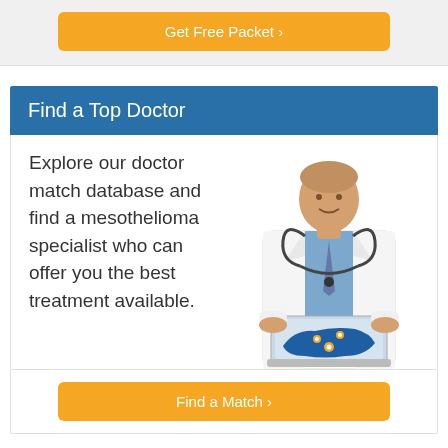[Figure (screenshot): Top section with orange Get Free Packet button on gray background]
Get Free Packet ›
Find a Top Doctor
Explore our doctor match database and find a mesothelioma specialist who can offer you the best treatment available.
[Figure (photo): Doctor in white coat holding a laptop with a US map showing location pins]
Find a Match ›